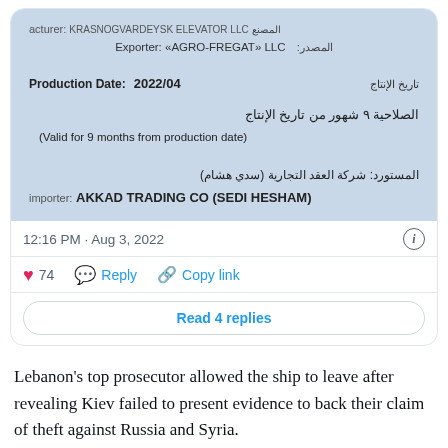[Figure (screenshot): Screenshot of a product label showing manufacturer details in English and Arabic. Text includes: Exporter: «AGRO-FREGAT» LLC, Production Date: 2022/04, Valid for 9 months from production date, Importer: AKKAD TRADING CO (SEDI HESHAM). Timestamp: 12:16 PM · Aug 3, 2022. Tweet actions: 74 likes, Reply, Copy link, Read 4 replies.]
Lebanon's top prosecutor allowed the ship to leave after revealing Kiev failed to present evidence to back their claim of theft against Russia and Syria.